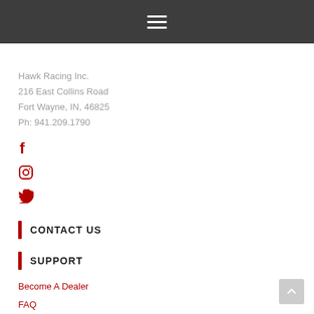Navigation menu (hamburger icon)
Hawk Racing Inc.
216 East Collins Road
Fort Wayne, IN, 46825
Ph: 941.209.1790
[Figure (other): Social media icons: Facebook, Instagram, Twitter in red]
CONTACT US
SUPPORT
Become A Dealer
FAQ